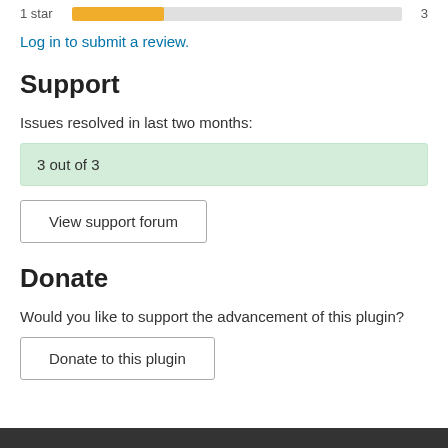[Figure (other): 1 star rating bar showing partial fill (yellow/gold) with count of 3]
Log in to submit a review.
Support
Issues resolved in last two months:
3 out of 3
View support forum
Donate
Would you like to support the advancement of this plugin?
Donate to this plugin